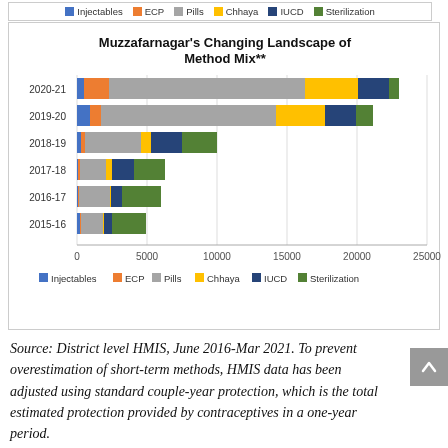[Figure (stacked-bar-chart): Muzzafarnagar's Changing Landscape of Method Mix**]
Source: District level HMIS, June 2016-Mar 2021. To prevent overestimation of short-term methods, HMIS data has been adjusted using standard couple-year protection, which is the total estimated protection provided by contraceptives in a one-year period.